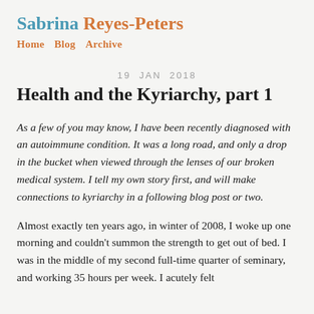Sabrina Reyes-Peters
Home  Blog  Archive
19 JAN 2018
Health and the Kyriarchy, part 1
As a few of you may know, I have been recently diagnosed with an autoimmune condition. It was a long road, and only a drop in the bucket when viewed through the lenses of our broken medical system. I tell my own story first, and will make connections to kyriarchy in a following blog post or two.
Almost exactly ten years ago, in winter of 2008, I woke up one morning and couldn't summon the strength to get out of bed. I was in the middle of my second full-time quarter of seminary, and working 35 hours per week. I acutely felt